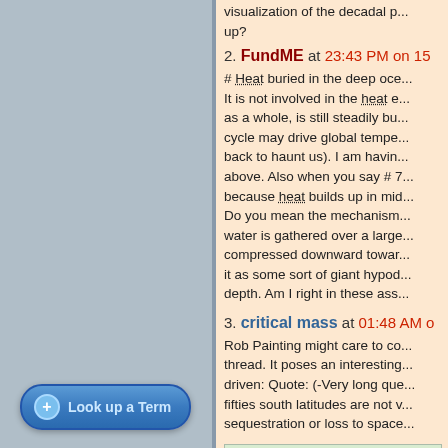visualization of the decadal p... up?
2. FundME at 23:43 PM on 15
# Heat buried in the deep oce... It is not involved in the heat e... as a whole, is still steadily bu... cycle may drive global tempe... back to haunt us). I am havin... above. Also when you say # 7... because heat builds up in mid... Do you mean the mechanism... water is gathered over a large... compressed downward towar... it as some sort of giant hypod... depth. Am I right in these ass...
3. critical mass at 01:48 AM o
Rob Painting might care to co... thread. It poses an interesting... driven: Quote: (-Very long que... fifties south latitudes are not v... sequestration or loss to space...
Response:
Look up a Term